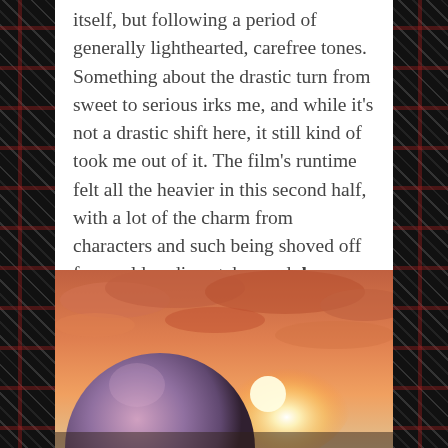itself, but following a period of generally lighthearted, carefree tones. Something about the drastic turn from sweet to serious irks me, and while it's not a drastic shift here, it still kind of took me out of it. The film's runtime felt all the heavier in this second half, with a lot of the charm from characters and such being shoved off for world-ending stakes and drama. Pretty tiresome stuff.
[Figure (illustration): Anime-style illustration showing a large round purple/pink figure silhouetted against a dramatic sunset sky with orange and pink clouds and bright sunlight.]